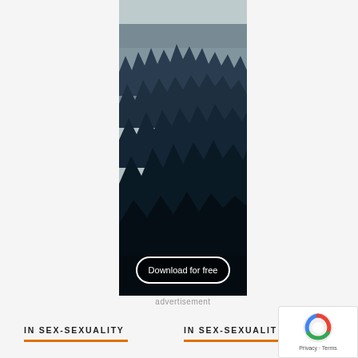[Figure (photo): Advertisement banner showing a dark misty forest with tall pine trees and mountains in background. Contains a 'Download for free' button with white rounded border at bottom.]
advertisement
IN SEX-SEXUALITY
IN SEX-SEXUALITY